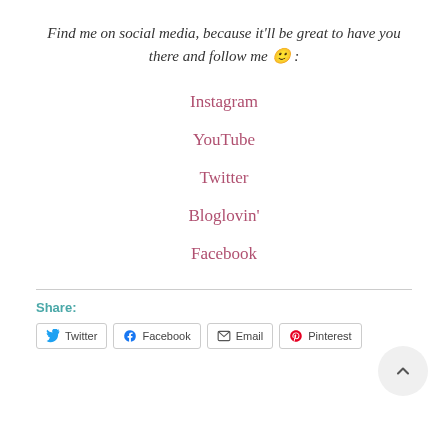Find me on social media, because it'll be great to have you there and follow me 🙂 :
Instagram
YouTube
Twitter
Bloglovin'
Facebook
Share:
Twitter  Facebook  Email  Pinterest